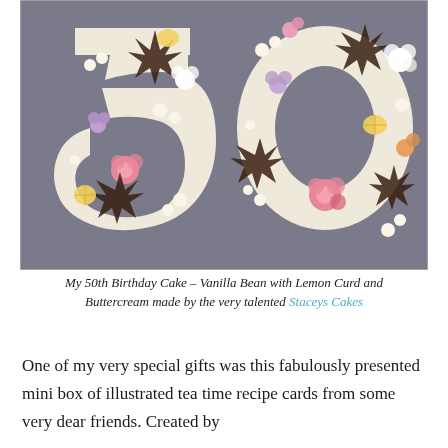[Figure (photo): A birthday cake in the shape of '50', decorated with cream buttercream and colorful flowers including pink roses, purple flowers, yellow lemon slices, and dark spiked flowers on a grey background.]
My 50th Birthday Cake – Vanilla Bean with Lemon Curd and Buttercream made by the very talented Staceys Cakes
One of my very special gifts was this fabulously presented mini box of illustrated tea time recipe cards from some very dear friends. Created by